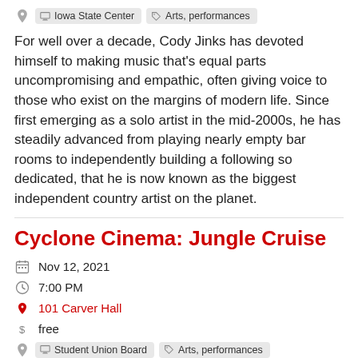Iowa State Center  Arts, performances
For well over a decade, Cody Jinks has devoted himself to making music that's equal parts uncompromising and empathic, often giving voice to those who exist on the margins of modern life. Since first emerging as a solo artist in the mid-2000s, he has steadily advanced from playing nearly empty bar rooms to independently building a following so dedicated, that he is now known as the biggest independent country artist on the planet.
Cyclone Cinema: Jungle Cruise
Nov 12, 2021
7:00 PM
101 Carver Hall
free
Student Union Board  Arts, performances  Student activities
For this listing see the details for this event and this event.